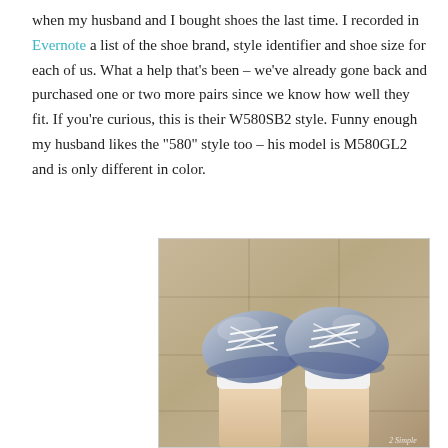when my husband and I bought shoes the last time. I recorded in Evernote a list of the shoe brand, style identifier and shoe size for each of us. What a help that's been – we've already gone back and purchased one or two more pairs since we know how well they fit. If you're curious, this is their W580SB2 style. Funny enough my husband likes the "580" style too – his model is M580GL2 and is only different in color.
[Figure (photo): Photo taken looking down at a person's feet wearing grey New Balance sneakers (W580SB2 style) with white laces and white ankle socks, standing on a beige tile floor. Watermark reads '2 Simple' in bottom right corner.]